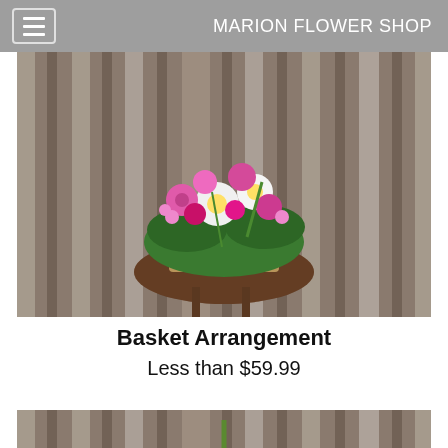MARION FLOWER SHOP
[Figure (photo): Top-down view of a colorful floral basket arrangement with pink, white, and magenta flowers on a round wooden table against a corrugated metal background]
Basket Arrangement
Less than $59.99
[Figure (photo): Tall slender floral arrangement with purple, pink, and white flowers against a corrugated metal background]